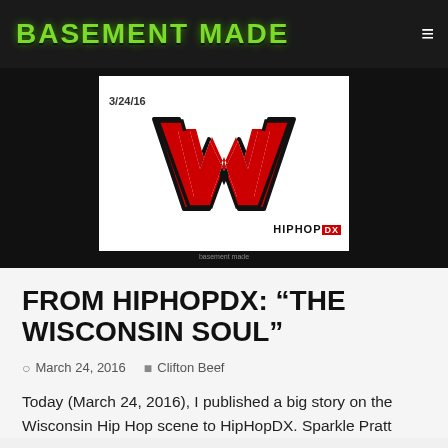BASEMENT MADE
[Figure (illustration): Black background hero image with a white inset box showing the Wisconsin Badgers W logo in red with black outline, date '3/24/16' at top left, and 'HIPHOP DX' branding at bottom right. Small 'basement made' text below the white box.]
FROM HIPHOPDX: “THE WISCONSIN SOUL”
March 24, 2016   Clifton Beef
Today (March 24, 2016), I published a big story on the Wisconsin Hip Hop scene to HipHopDX. Sparkle Pratt